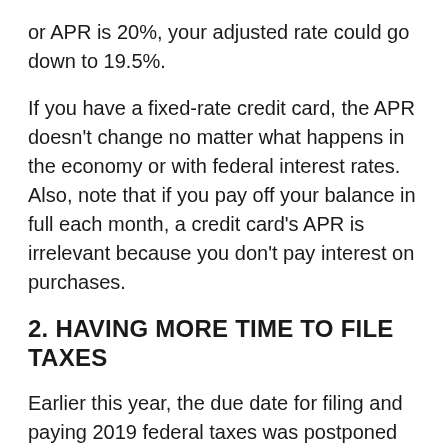or APR is 20%, your adjusted rate could go down to 19.5%.
If you have a fixed-rate credit card, the APR doesn't change no matter what happens in the economy or with federal interest rates. Also, note that if you pay off your balance in full each month, a credit card's APR is irrelevant because you don't pay interest on purchases.
2. HAVING MORE TIME TO FILE TAXES
Earlier this year, the due date for filing and paying 2019 federal taxes was postponed from April 15, 2020, to July 15, 2020. You didn't have to be sick or negatively impacted by COVID-19 to qualify for